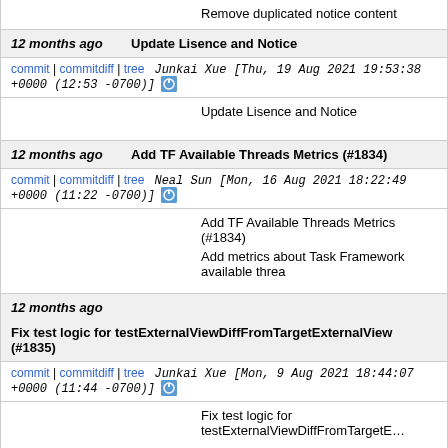Remove duplicated notice content
12 months ago   Update Lisence and Notice
commit | commitdiff | tree   Junkai Xue [Thu, 19 Aug 2021 19:53:38 +0000 (12:53 -0700)]
Update Lisence and Notice
12 months ago   Add TF Available Threads Metrics (#1834)
commit | commitdiff | tree   Neal Sun [Mon, 16 Aug 2021 18:22:49 +0000 (11:22 -0700)]
Add TF Available Threads Metrics (#1834)
Add metrics about Task Framework available threa
12 months ago   Fix test logic for testExternalViewDiffFromTargetExternalView (#1835)
commit | commitdiff | tree   Junkai Xue [Mon, 9 Aug 2021 18:44:07 +0000 (11:44 -0700)]
Fix test logic for testExternalViewDiffFromTargetE…